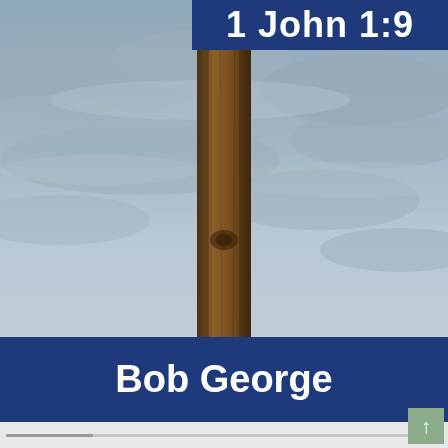[Figure (photo): Book cover showing a wooden post/cross against a cloudy grey sky background. A blue banner at the top partially shows text '1 John 1:9' and a blue banner at the bottom shows the author name 'Bob George'.]
1 John 1:9
Bob George